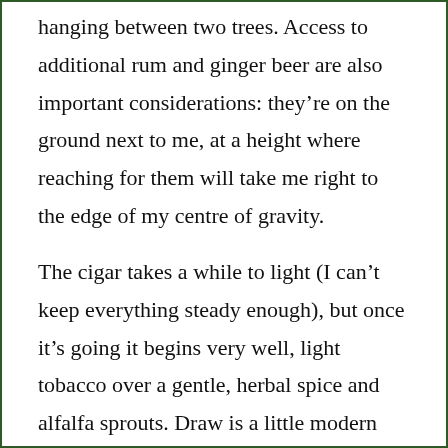hanging between two trees. Access to additional rum and ginger beer are also important considerations: they're on the ground next to me, at a height where reaching for them will take me right to the edge of my centre of gravity.
The cigar takes a while to light (I can't keep everything steady enough), but once it's going it begins very well, light tobacco over a gentle, herbal spice and alfalfa sprouts. Draw is a little modern (read loose) for my taste, but perfectly workable.